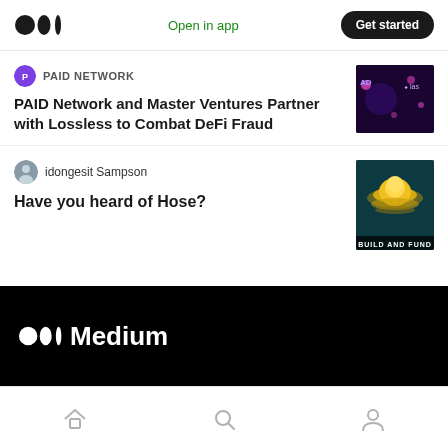Open in app | Get started
PAID NETWORK
PAID Network and Master Ventures Partner with Lossless to Combat DeFi Fraud
[Figure (photo): Dark purple background with dots and text 'PAID' and 'Las']
idongesit Sampson
Have you heard of Hose?
[Figure (photo): Gold/yellow glowing circular object on dark teal background with text 'BUILD AND FUND' at bottom]
[Figure (logo): Medium logo with white circles and 'Medium' text on black background]
Home | Search | Profile